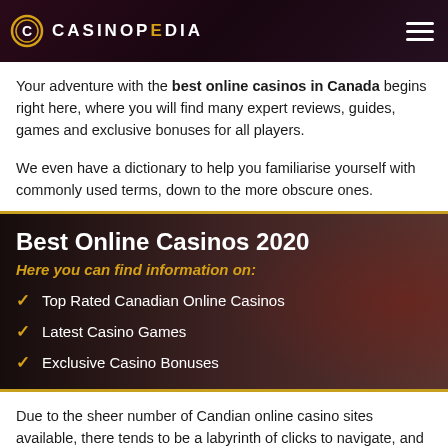CASINOPEDIA
Your adventure with the best online casinos in Canada begins right here, where you will find many expert reviews, guides, games and exclusive bonuses for all players.
We even have a dictionary to help you familiarise yourself with commonly used terms, down to the more obscure ones.
[Figure (infographic): Dark banner with casino background image showing Best Online Casinos 2020 title and list of features]
Best Online Casinos 2020
Here you can find information on:
Top Rated Canadian Online Casinos
Latest Casino Games
Exclusive Casino Bonuses
Due to the sheer number of Candian online casino sites available, there tends to be a labyrinth of clicks to navigate, and no one wants to spend time or money setting up an account, only to lose it out of inexperience with bad operators.